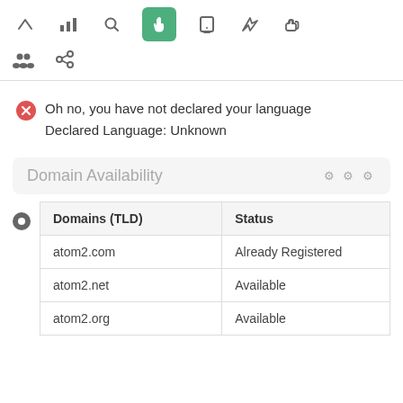[Figure (screenshot): Toolbar with navigation icons: up arrow, bar chart, search, hand/cursor (active, green background), mobile, send/rocket, thumbs up]
[Figure (screenshot): Second toolbar row with people/group icon and chain link icon]
Oh no, you have not declared your language
Declared Language: Unknown
Domain Availability
| Domains (TLD) | Status |
| --- | --- |
| atom2.com | Already Registered |
| atom2.net | Available |
| atom2.org | Available |